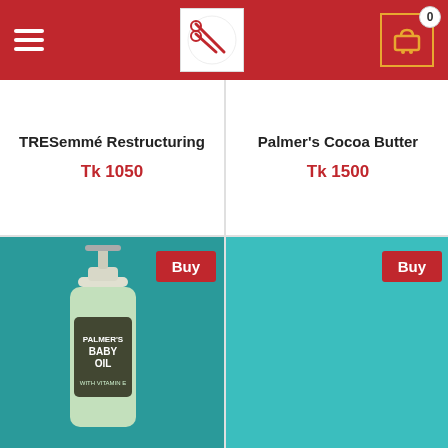Navigation header with hamburger menu, logo, and cart icon (0 items)
TRESemmé Restructuring
Tk 1050
Palmer's Cocoa Butter
Tk 1500
[Figure (photo): Palmer's Baby Oil Pump bottle on teal background with Buy button]
[Figure (photo): Banana Truly Nourishing product – blank teal background with Buy button]
Palmer's Baby Oil Pump
Tk 1200  1300
You Save Tk 100 (7%)
Banana Truly Nourishing
Tk 1800
Bottom row partial cards (cut off)